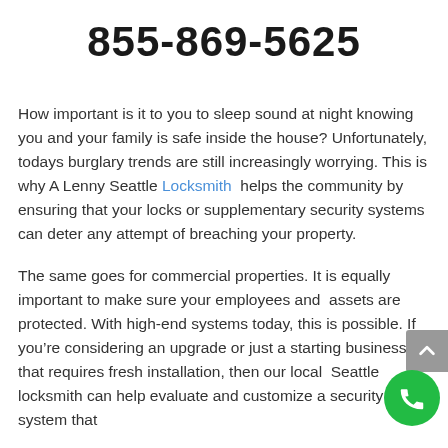855-869-5625
How important is it to you to sleep sound at night knowing you and your family is safe inside the house? Unfortunately, todays burglary trends are still increasingly worrying. This is why A Lenny Seattle Locksmith helps the community by ensuring that your locks or supplementary security systems can deter any attempt of breaching your property.
The same goes for commercial properties. It is equally important to make sure your employees and assets are protected. With high-end systems today, this is possible. If you’re considering an upgrade or just a starting business that requires fresh installation, then our local Seattle locksmith can help evaluate and customize a security system that